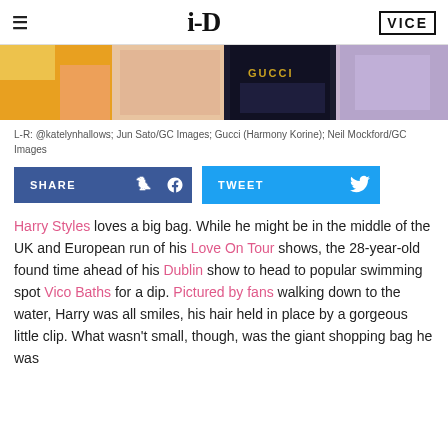i-D | VICE
[Figure (photo): Collage of colorful fashion images left to right showing bags and people]
L-R: @katelynhallows; Jun Sato/GC Images; Gucci (Harmony Korine); Neil Mockford/GC Images
SHARE | TWEET buttons row
Harry Styles loves a big bag. While he might be in the middle of the UK and European run of his Love On Tour shows, the 28-year-old found time ahead of his Dublin show to head to popular swimming spot Vico Baths for a dip. Pictured by fans walking down to the water, Harry was all smiles, his hair held in place by a gorgeous little clip. What wasn't small, though, was the giant shopping bag he was